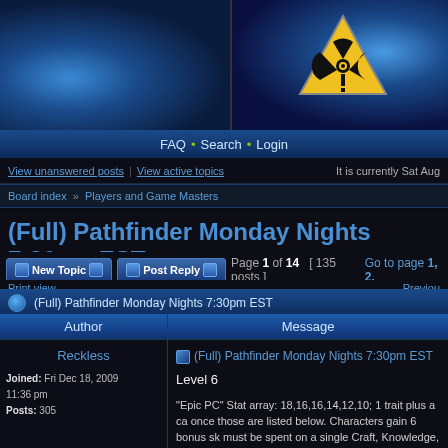[Figure (screenshot): Forum website header banner with blue ray/energy background on left side and radiation warning symbol (yellow triangle with black radiation symbol) on right side]
FAQ • Search • Login
View unanswered posts | View active topics    It is currently Sat Aug
Board index » Players and Game Masters
(Full) Pathfinder Monday Nights 7:30pm EST
New Topic   Post Reply   Page 1 of 14  [ 135 posts ]  Go to page 1, 2,
Print view    Previous
(Full) Pathfinder Monday Nights 7:30pm EST
| Author | Message |
| --- | --- |
| Reckless
Joined: Fri Dec 18, 2009 11:36 pm
Posts: 305 | (Full) Pathfinder Monday Nights 7:30pm EST
Level 6

"Epic PC" Stat array: 18,16,16,14,12,10; 1 trait plus a ca once those are listed below. Characters gain 6 bonus sk must be spent on a single Craft, Knowledge, Profession skill. This skill is considered a class skill for the charact gain a bonus feat, which must be either skill focus or on |